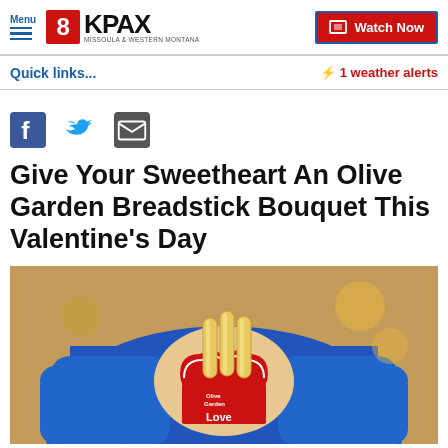Menu | 8KPAX MISSOULA & WESTERN MONTANA | Watch Now
Quick links...
⚡ 1 weather alerts
[Figure (other): Social media icons: Facebook, Twitter, Email]
Give Your Sweetheart An Olive Garden Breadstick Bouquet This Valentine's Day
[Figure (photo): Person in blue shirt holding an Olive Garden breadstick bouquet in a red heart-shaped box with 'Love' text visible]